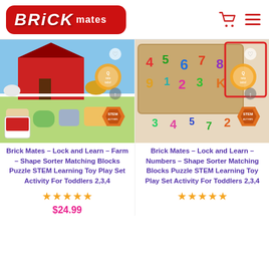Brick Mates
[Figure (photo): Brick Mates Lock and Learn Farm puzzle toy product image with STEM authenticated badge]
Brick Mates – Lock and Learn – Farm – Shape Sorter Matching Blocks Puzzle STEM Learning Toy Play Set Activity For Toddlers 2,3,4
★★★★★
$24.99
[Figure (photo): Brick Mates Lock and Learn Numbers puzzle toy product image with STEM authenticated badge]
Brick Mates – Lock and Learn – Numbers – Shape Sorter Matching Blocks Puzzle STEM Learning Toy Play Set Activity For Toddlers 2,3,4
★★★★★